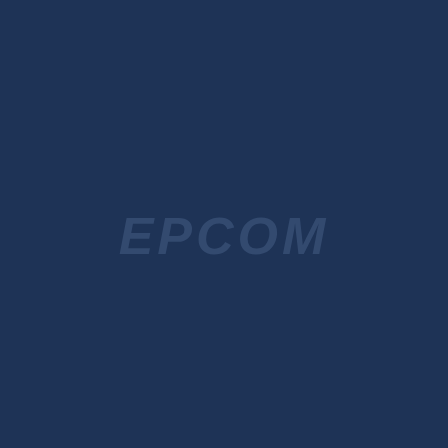[Figure (logo): EPCOM company logo in italic bold uppercase text, steel blue color on dark navy blue background, centered on page]